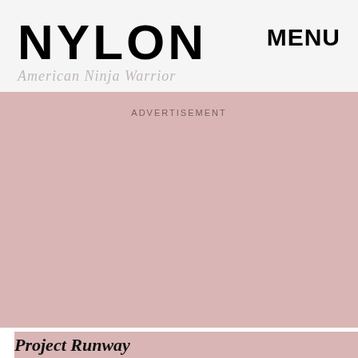NYLON  MENU
American Ninja Warrior
ADVERTISEMENT
Project Runway